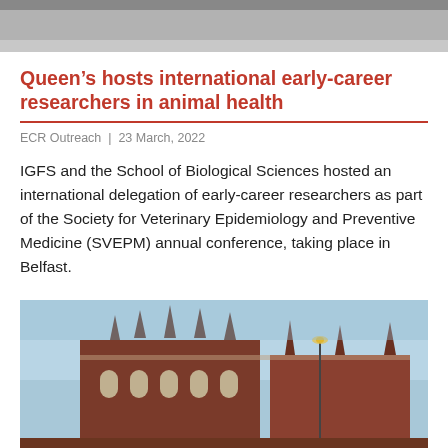[Figure (photo): Top cropped photo, partially visible — grey/neutral background, appears to be top of a building or outdoor scene]
Queen's hosts international early-career researchers in animal health
ECR Outreach | 23 March, 2022
IGFS and the School of Biological Sciences hosted an international delegation of early-career researchers as part of the Society for Veterinary Epidemiology and Preventive Medicine (SVEPM) annual conference, taking place in Belfast.
[Figure (photo): Photograph of Queen's University Belfast building with Gothic architecture, red brick facade, pointed spires against a blue sky with a street lamp visible]